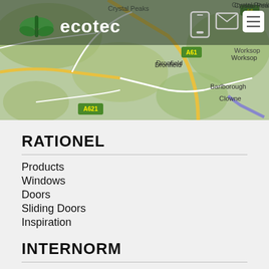[Figure (map): A road map showing the area around Dronfield, Barlborough, Clowne, Crystal Peaks, and Worksop with roads A61 and A621 visible. The ecotec logo and navigation icons (phone, mail, hamburger menu) are overlaid at the top.]
RATIONEL
Products
Windows
Doors
Sliding Doors
Inspiration
INTERNORM
Products
Windows